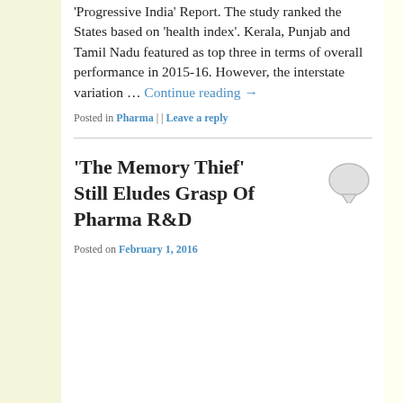'Progressive India' Report. The study ranked the States based on 'health index'. Kerala, Punjab and Tamil Nadu featured as top three in terms of overall performance in 2015-16. However, the interstate variation … Continue reading →
Posted in Pharma | | Leave a reply
'The Memory Thief' Still Eludes Grasp Of Pharma R&D
Posted on February 1, 2016